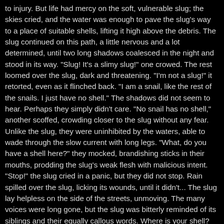to injury. But life had mercy on the soft, vulnerable slug; the skies cried, and the water was enough to pave the slug's way to a place of suitable shells, lifting it high above the debris. The slug continued on this path, a little nervous and a lot determined, until two long shadows coalesced in the night and stood in its way. "Slug! It's a slimy slug!" one crowed. The rest loomed over the slug, dark and threatening. "I'm not a slug!" it retorted, even as it flinched back. "I am a snail, like the rest of the snails. I just have no shell." The shadows did not seem to hear. Perhaps they simply didn't care. "No snail has no shell," another scoffed, crowding closer to the slug without any fear. Unlike the slug, they were uninhibited by the waters, able to wade through the slow current with long legs. "What, do you have a shell here?" they mocked, brandishing sticks in their mouths, prodding the slug's weak flesh with malicious intent. "Stop!" the slug cried in a panic, but they did not stop. Rain spilled over the slug, licking its wounds, until it didn't... The slug lay helpless on the side of the streets, unmoving. The many voices were long gone, but the slug was bitterly reminded of its siblings and their equally callous words. Where is your shell? Who is going to protect you? It did not resist as it was thrown into the air by some unknown assailant, landing straight into unconsciousness. Perhaps, its siblings had been right. The slug was useless on its own, and the weak never survived. But the slug did not die. It came to, after a long, long time, to see a large, patterned rock. "...Hello?" the slug whispered, barely audible, not expecting an answer. But surprisingly, the rock moved, revealing a